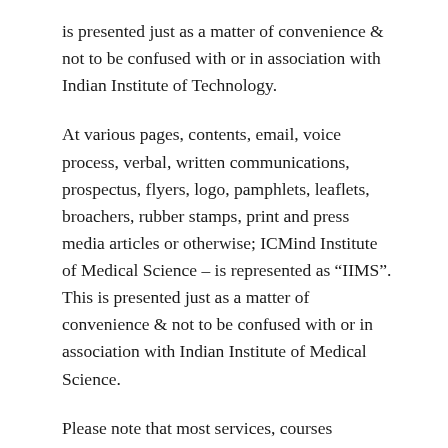is presented just as a matter of convenience & not to be confused with or in association with Indian Institute of Technology.
At various pages, contents, email, voice process, verbal, written communications, prospectus, flyers, logo, pamphlets, leaflets, broachers, rubber stamps, print and press media articles or otherwise; ICMind Institute of Medical Science – is represented as "IIMS". This is presented just as a matter of convenience & not to be confused with or in association with Indian Institute of Medical Science.
Please note that most services, courses provided by ICMind are not academically accredited, and are purposed for continuing professional development, rather than an academic degree. ICMind Education is a Pvt. Ltd. Company established under the companies